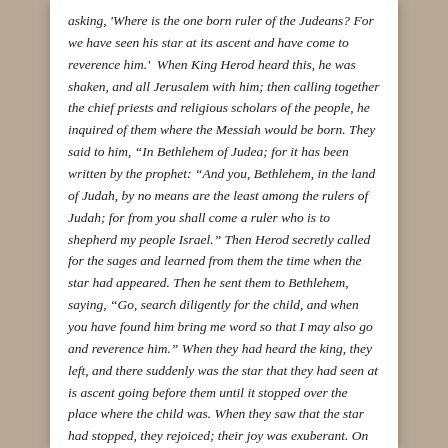asking, 'Where is the one born ruler of the Judeans? For we have seen his star at its ascent and have come to reverence him.'  When King Herod heard this, he was shaken, and all Jerusalem with him; then calling together the chief priests and religious scholars of the people, he inquired of them where the Messiah would be born. They said to him, "In Bethlehem of Judea; for it has been written by the prophet: "And you, Bethlehem, in the land of Judah, by no means are the least among the rulers of Judah; for from you shall come a ruler who is to shepherd my people Israel." Then Herod secretly called for the sages and learned from them the time when the star had appeared. Then he sent them to Bethlehem, saying, "Go, search diligently for the child, and when you have found him bring me word so that I may also go and reverence him." When they had heard the king, they left, and there suddenly was the star that they had seen at is ascent going before them until it stopped over the place where the child was. When they saw that the star had stopped, they rejoiced; their joy was exuberant. On entering the house, they say the child with Mary his mother; and they